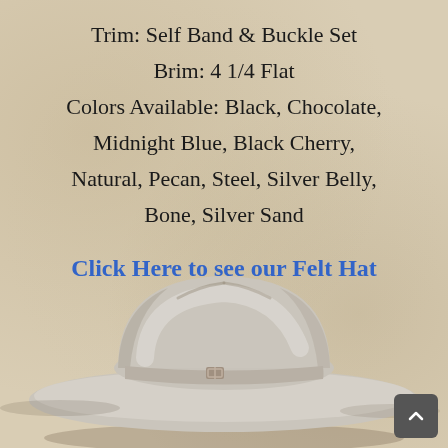Trim: Self Band & Buckle Set
Brim: 4 1/4 Flat
Colors Available: Black, Chocolate, Midnight Blue, Black Cherry, Natural, Pecan, Steel, Silver Belly, Bone, Silver Sand
Click Here to see our Felt Hat Colors
[Figure (photo): A light silver/bone colored felt cowboy hat photographed from front-slightly-above angle, showing the brim and crown, with a decorative band and buckle detail at the base of the crown.]